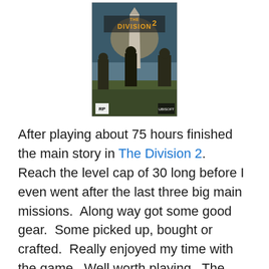[Figure (photo): Box art for The Division 2 video game by Ubisoft, showing soldiers in post-apocalyptic Washington D.C. with the Washington Monument in the background. RP rating and Ubisoft logo visible.]
After playing about 75 hours finished the main story in The Division 2.  Reach the level cap of 30 long before I even went after the last three big main missions.  Along way got some good gear.  Some picked up, bought or crafted.  Really enjoyed my time with the game.  Well worth playing.  The thing is is it doesn't stop there.  Once the last mission is over.  The level system changes to what they call world tier and your items now have a gear score.  Then the whole map is taken over by a new bad guy group.  Who a teased in the very beginning of the game.  It is cool in some ways you can keep going but at the